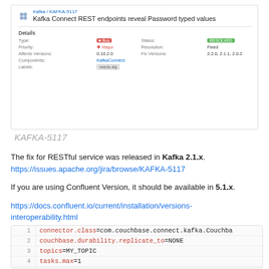[Figure (screenshot): Jira issue screenshot showing KAFKA-5117: Kafka Connect REST endpoints reveal Password typed values. Details: Type=Bug, Priority=Major, Affects Versions=0.10.2.0, Components=KafkaConnect, Labels=needs-kip, Status=RESOLVED, Resolution=Fixed, Fix Versions=2.2.0, 2.1.1, 2.0.2]
KAFKA-5117
The fix for RESTful service was released in Kafka 2.1.x.
https://issues.apache.org/jira/browse/KAFKA-5117
If you are using Confluent Version, it should be available in 5.1.x.
https://docs.confluent.io/current/installation/versions-interoperability.html
1  connector.class=com.couchbase.connect.kafka.Couchba
2  couchbase.durability.replicate_to=NONE
3  topics=MY_TOPIC
4  tasks.max=1
5  couchbase.durability.persist_to=NONE
6  connection.ssl.enabled=false